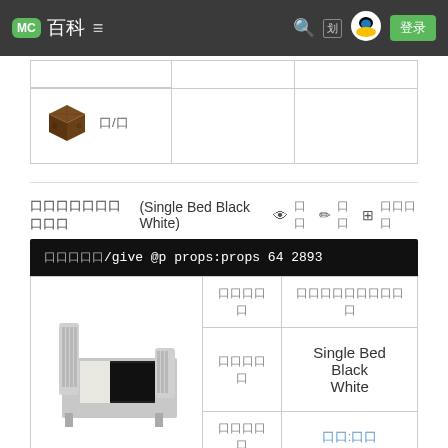MC 百科 ≡   🔍 [划] 🐧 登录
[Figure (screenshot): Minecraft block item image with label 口/口 in a table cell]
口口口口口口口口口口 (Single Bed Black White) 👁 口口 ✏ 口口 ⊞ 口口口口
口口口口口/give @p props:props 64 2893
|  | 口口口口口 | 口口口口口口口口口口 |
| --- | --- | --- |
| [bed image] | 口口口口口 | Single Bed Black White |
|  | 口口口口口 | 口口:口口 |